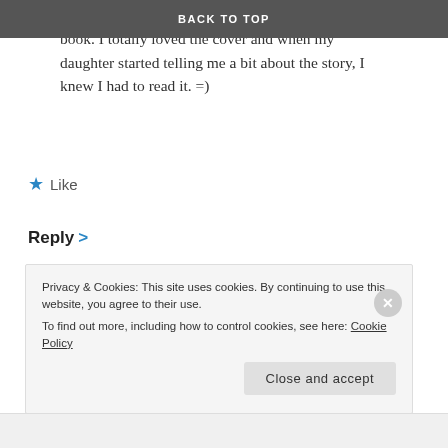BACK TO TOP
about the series, until my daughter read the first book. I totally loved the cover and when my daughter started telling me a bit about the story, I knew I had to read it. =)
★ Like
Reply >
Rebecca Belliston says: 03/04/14 at 12:50 pm
That's awesome that you guys got to meet her.
Privacy & Cookies: This site uses cookies. By continuing to use this website, you agree to their use.
To find out more, including how to control cookies, see here: Cookie Policy
Close and accept